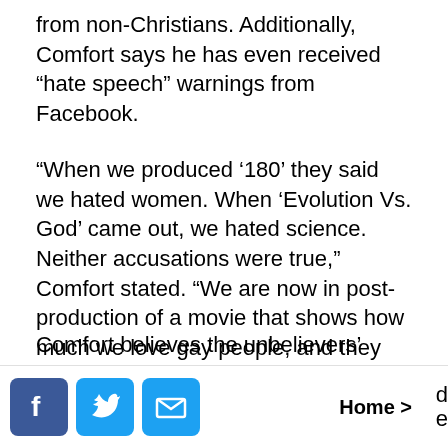from non-Christians. Additionally, Comfort says he has even received “hate speech” warnings from Facebook.
“When we produced ‘180’ they said we hated women. When ‘Evolution Vs. God’ came out, we hated science. Neither accusations were true,” Comfort stated. “We are now in post-production of a movie that shows how much we love gay people, and they are already saying that I hate gays.”
Comfort believes the unbelievers’ criticism is ultimately driven by a hatred of God.
“The issue isn’t about women, evolution or gays,”
Home >